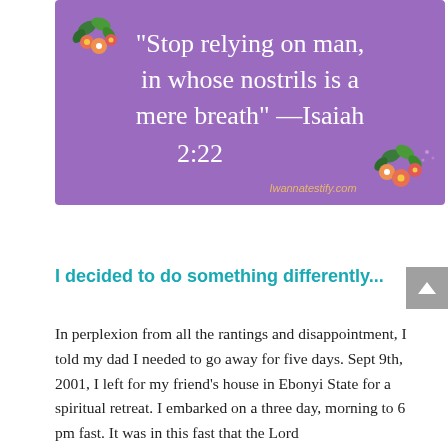[Figure (illustration): Purple background quote card with white serif text reading: "Stop relying on man, in whose nostrils is a mere breath" —Isaiah 2:22. Decorative floral elements top-left and bottom-right corners. Website label 'Iwannatestify.com' in gold italic at bottom.]
I decided to do something differently...
In perplexion from all the rantings and disappointment, I told my dad I needed to go away for five days. Sept 9th, 2001, I left for my friend's house in Ebonyi State for a spiritual retreat. I embarked on a three day, morning to 6 pm fast. It was in this fast that the Lord